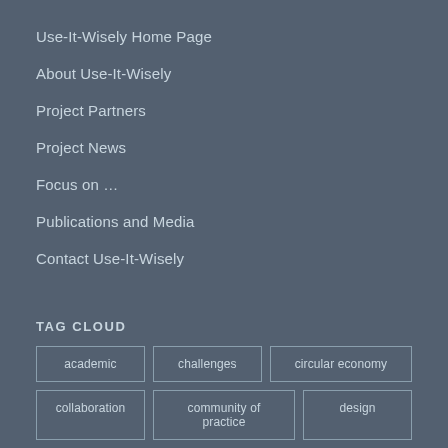Use-It-Wisely Home Page
About Use-It-Wisely
Project Partners
Project News
Focus on …
Publications and Media
Contact Use-It-Wisely
TAG CLOUD
academic
challenges
circular economy
collaboration
community of practice
design